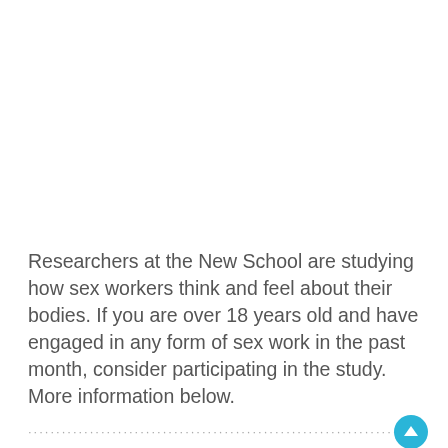Researchers at the New School are studying how sex workers think and feel about their bodies. If you are over 18 years old and have engaged in any form of sex work in the past month, consider participating in the study. More information below.
Researchers are recruiting English-speaking